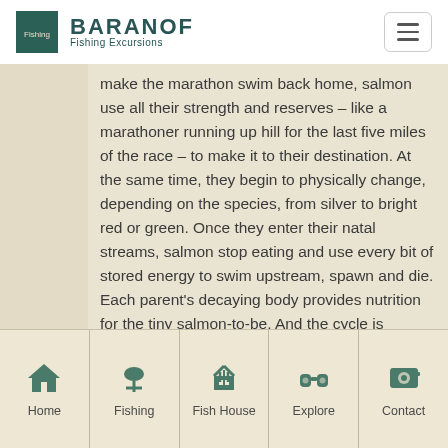BARANOF Fishing Excursions
make the marathon swim back home, salmon use all their strength and reserves – like a marathoner running up hill for the last five miles of the race – to make it to their destination. At the same time, they begin to physically change, depending on the species, from silver to bright red or green. Once they enter their natal streams, salmon stop eating and use every bit of stored energy to swim upstream, spawn and die. Each parent's decaying body provides nutrition for the tiny salmon-to-be. And the cycle is complete.
Home | Fishing | Fish House | Explore | Contact